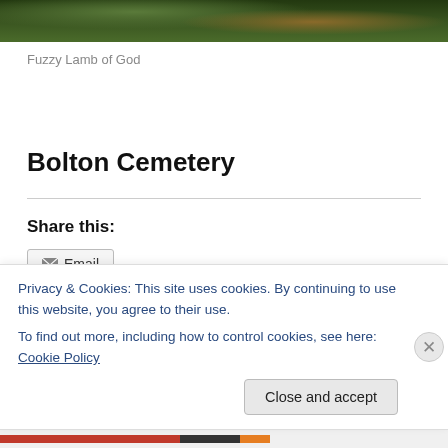[Figure (photo): Top portion of a photo showing green grass and foliage, partially cropped]
Fuzzy Lamb of God
Bolton Cemetery
Share this:
Email
Privacy & Cookies: This site uses cookies. By continuing to use this website, you agree to their use.
To find out more, including how to control cookies, see here: Cookie Policy
Close and accept